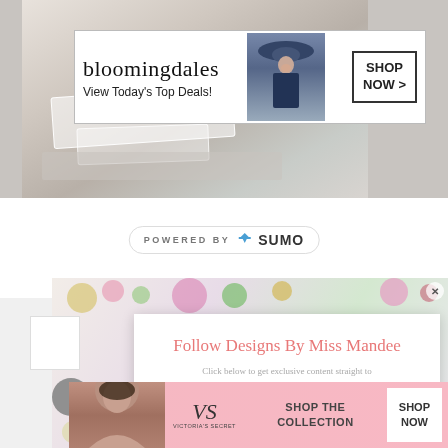[Figure (screenshot): Bloomingdales banner advertisement with logo, tagline 'View Today's Top Deals!', model in wide-brimmed hat, and 'SHOP NOW >' button, overlaid on a photo of wedding/decorative items]
[Figure (logo): POWERED BY SUMO badge with crown icon]
[Figure (screenshot): Floral background popup with white card overlaid. Popup title: 'Follow Designs By Miss Mandee', subtitle: 'Click below to get exclusive content straight to your feed.' with Pinterest icon and DesignsByMissM handle. CLOSE button at bottom right.]
[Figure (screenshot): Victoria's Secret pink banner advertisement with model photo, VS logo, 'SHOP THE COLLECTION' text, and 'SHOP NOW' button]